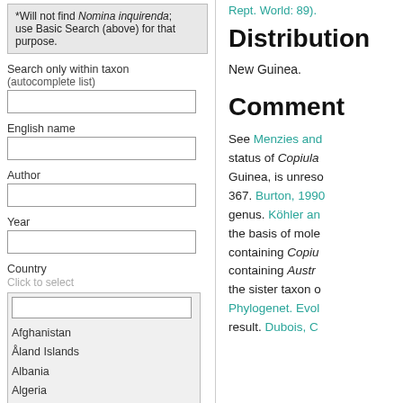*Will not find Nomina inquirenda; use Basic Search (above) for that purpose.
Search only within taxon (autocomplete list)
English name
Author
Year
Country
Click to select
Afghanistan
Åland Islands
Albania
Algeria
Andorra
Angola
Anguilla
Rept. World: 89).
Distribution
New Guinea.
Comment
See Menzies and... status of Copiula... Guinea, is unreso... 367. Burton, 1990... genus. Köhler an... the basis of mole... containing Copiu... containing Austr... the sister taxon o... Phylogenet. Evol... result. Dubois, C...